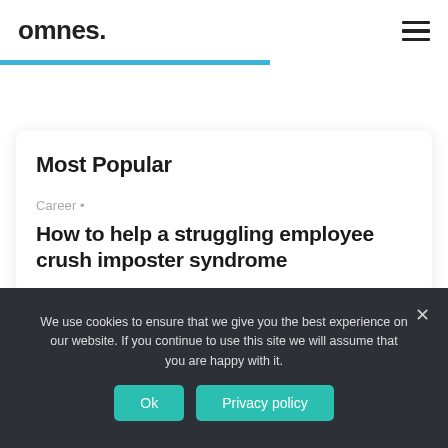omnes.
Most Popular
Career •
How to help a struggling employee crush imposter syndrome
We use cookies to ensure that we give you the best experience on our website. If you continue to use this site we will assume that you are happy with it.